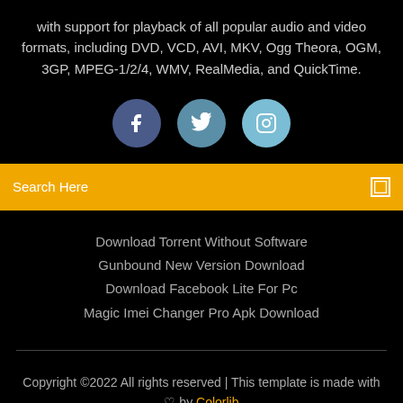with support for playback of all popular audio and video formats, including DVD, VCD, AVI, MKV, Ogg Theora, OGM, 3GP, MPEG-1/2/4, WMV, RealMedia, and QuickTime.
[Figure (infographic): Three social media icon circles: Facebook (dark blue), Twitter (medium blue), Instagram (light blue)]
Search Here
Download Torrent Without Software
Gunbound New Version Download
Download Facebook Lite For Pc
Magic Imei Changer Pro Apk Download
Copyright ©2022 All rights reserved | This template is made with ♡ by Colorlib